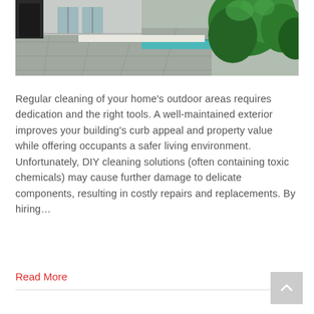[Figure (photo): Outdoor area of a home showing a paved patio/pool area with green tropical plants on the right and a modern building exterior with glass doors in the background.]
Regular cleaning of your home's outdoor areas requires dedication and the right tools. A well-maintained exterior improves your building's curb appeal and property value while offering occupants a safer living environment. Unfortunately, DIY cleaning solutions (often containing toxic chemicals) may cause further damage to delicate components, resulting in costly repairs and replacements. By hiring…
Read More